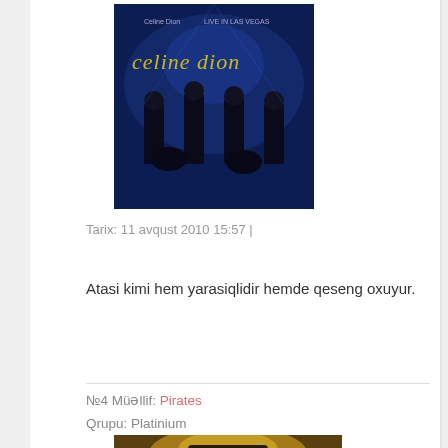[Figure (photo): Celine Dion album cover - Live in Las Vegas, dark blue background with performers in black suits, yellow text 'celine dion']
Tarix: 11 avqust 2010 15:57 |
Atasi kimi hem yarasiqlidir hemde qeseng oxuyur.
№4 Müəllif: Pirates
Qrupu: Platinium
[Figure (photo): Partial bottom image, brown/golden tones, appears to be a hat or similar object]